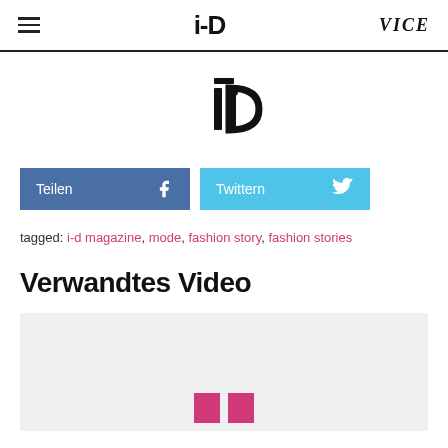i-D | VICE
[Figure (logo): i-D magazine logo centered, large monochrome stylized i-D symbol]
Teilen | Twittern (Facebook and Twitter share buttons)
tagged: i-d magazine, mode, fashion story, fashion stories
Verwandtes Video
[Figure (screenshot): Video thumbnail placeholder with i-D logo mark at bottom center in pink/magenta]